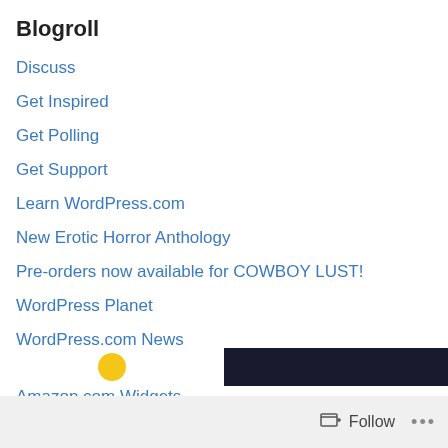Blogroll
Discuss
Get Inspired
Get Polling
Get Support
Learn WordPress.com
New Erotic Horror Anthology
Pre-orders now available for COWBOY LUST!
WordPress Planet
WordPress.com News
Amazon.com Widgets
Blogs I Follow
Follow